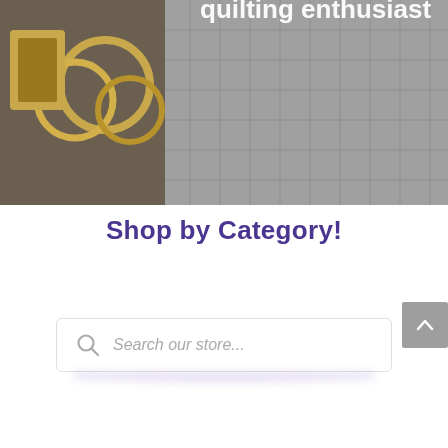[Figure (photo): Partial hero image showing quilting/sewing supplies including gold rings, scissors, and a cutting mat grid on a grey background. White bold text overlaid on right side reads 'quilting enthusiast' (partially visible).]
Shop by Category!
[Figure (other): Search bar with magnifying glass icon and italic placeholder text 'Search our store...' with a soft purple drop shadow below the bar.]